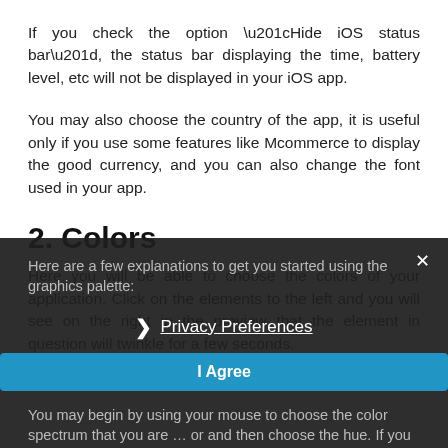If you check the option “Hide iOS status bar”, the status bar displaying the time, battery level, etc will not be displayed in your iOS app.
You may also choose the country of the app, it is useful only if you use some features like Mcommerce to display the good currency, and you can also change the font used in your app.
2. Colors
Here you will be able to choose the colors of your application. Click on the elements to the left and you will see on the right in the preview that the element in question will twinkle for a few seconds.
Here are a few explanations to get you started using the graphics palette:
You may begin by using your mouse to choose the color spectrum that you are … or and then choose the hue. If you know the color’s hexadecimal code (or RGB),